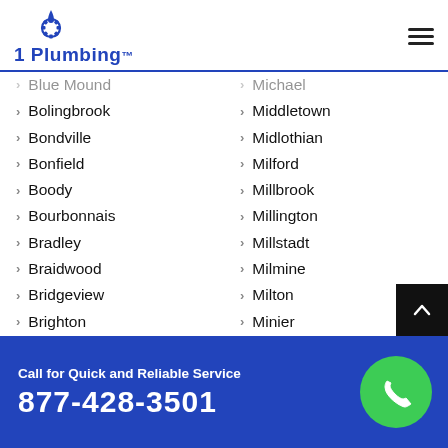1 Plumbing
Blue Mound
Michael
Bolingbrook
Middletown
Bondville
Midlothian
Bonfield
Milford
Boody
Millbrook
Bourbonnais
Millington
Bradley
Millstadt
Braidwood
Milmine
Bridgeview
Milton
Brighton
Minier
Brimfield
Minooka
Call for Quick and Reliable Service
877-428-3501